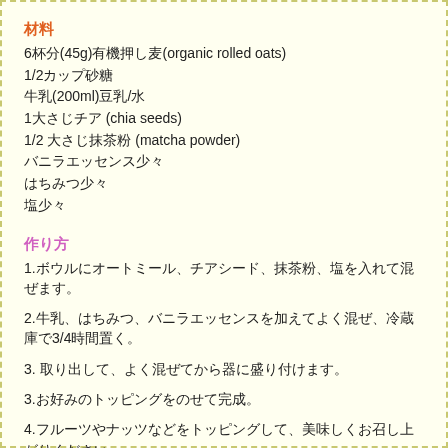材料
6杯分(45g)有機押し麦(organic rolled oats)
1/2カップ砂糖
牛乳(200ml)豆乳/水
1大さじチア (chia seeds)
1/2 大さじ抹茶粉 (matcha powder)
バニラエッセンス少々
はちみつ少々
塩少々
作り方
1.ボウルにオートミール、チアシード、抹茶粉、塩を入れて混ぜます。
2.牛乳、はちみつ、バニラエッセンスを加えてよく混ぜ、冷蔵庫で3/4時間置く。
3.  取り出して、よく混ぜてから器に盛り付けます。
3.お好みのトッピングをのせて完成。
4.フルーツやナッツなどをトッピングして、美味しくお召し上がりください。